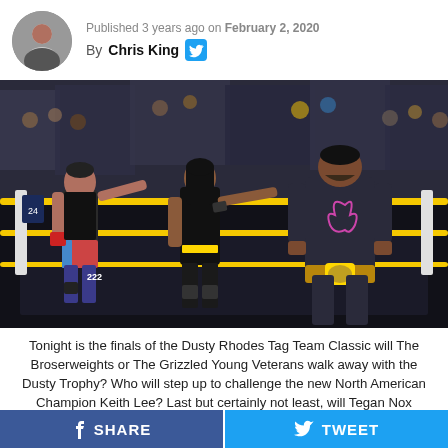Published 3 years ago on February 2, 2020 By Chris King
[Figure (photo): Three wrestlers in a WWE NXT ring. Two men on the left (one in trunks and tank top with red wrist tape, another in dark attire pointing) face a larger man on the right wearing a hoodie and holding a championship belt. A crowd is visible in the background behind yellow ring ropes.]
Tonight is the finals of the Dusty Rhodes Tag Team Classic will The Broserweights or The Grizzled Young Veterans walk away with the Dusty Trophy? Who will step up to challenge the new North American Champion Keith Lee? Last but certainly not least, will Tegan Nox finally get her revenge on her former best friend Dakota Kai tonight? Let’s get
SHARE   TWEET